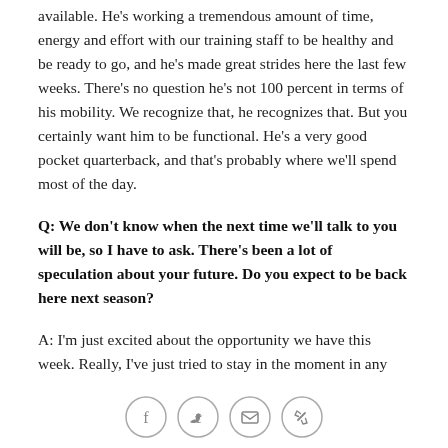available. He's working a tremendous amount of time, energy and effort with our training staff to be healthy and be ready to go, and he's made great strides here the last few weeks. There's no question he's not 100 percent in terms of his mobility. We recognize that, he recognizes that. But you certainly want him to be functional. He's a very good pocket quarterback, and that's probably where we'll spend most of the day.
Q: We don't know when the next time we'll talk to you will be, so I have to ask. There's been a lot of speculation about your future. Do you expect to be back here next season?
A: I'm just excited about the opportunity we have this week. Really, I've just tried to stay in the moment in any position I've been in my career in the NFL. That...
[Figure (infographic): Social media sharing icons: Facebook, Twitter, Email, Link]